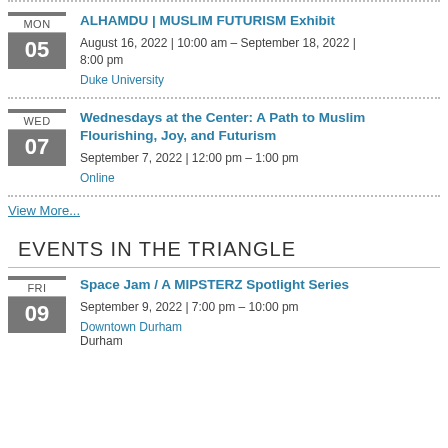ALHAMDU | MUSLIM FUTURISM Exhibit
August 16, 2022 | 10:00 am - September 18, 2022 | 8:00 pm
Duke University
Wednesdays at the Center: A Path to Muslim Flourishing, Joy, and Futurism
September 7, 2022 | 12:00 pm - 1:00 pm
Online
View More...
EVENTS IN THE TRIANGLE
Space Jam / A MIPSTERZ Spotlight Series
September 9, 2022 | 7:00 pm - 10:00 pm
Downtown Durham
Durham